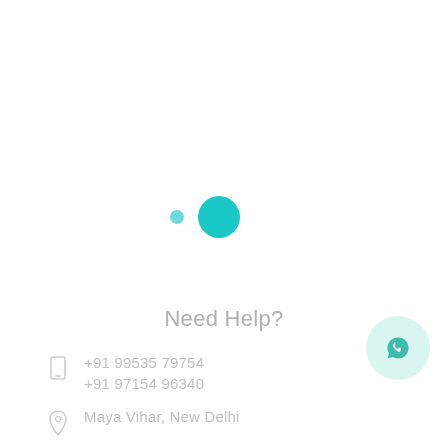[Figure (other): Loading spinner with two teal circles — a small dot and a larger circle — indicating a loading state]
Need Help?
[Figure (other): WhatsApp floating action button — circular button with a WhatsApp logo icon in teal/green]
+91 99535 79754
+91 97154 96340
Maya Vihar, New Delhi